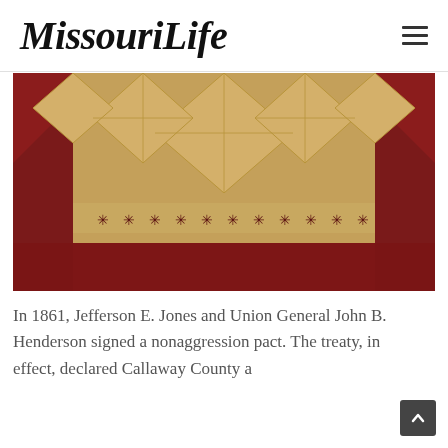MissouriLife
[Figure (photo): Close-up photograph of a quilt with a dark crimson/burgundy background and a central diamond/star pattern made from golden tan fabric, featuring embroidered asterisk-like star motifs along a horizontal band.]
In 1861, Jefferson E. Jones and Union General John B. Henderson signed a nonaggression pact. The treaty, in effect, declared Callaway County a